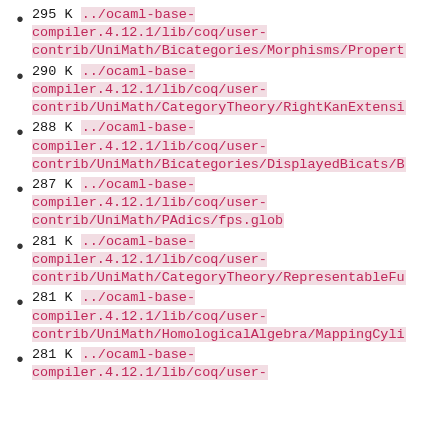295 K ../ocaml-base-compiler.4.12.1/lib/coq/user-contrib/UniMath/Bicategories/Morphisms/Propert
290 K ../ocaml-base-compiler.4.12.1/lib/coq/user-contrib/UniMath/CategoryTheory/RightKanExtensi
288 K ../ocaml-base-compiler.4.12.1/lib/coq/user-contrib/UniMath/Bicategories/DisplayedBicats/B
287 K ../ocaml-base-compiler.4.12.1/lib/coq/user-contrib/UniMath/PAdics/fps.glob
281 K ../ocaml-base-compiler.4.12.1/lib/coq/user-contrib/UniMath/CategoryTheory/RepresentableFu
281 K ../ocaml-base-compiler.4.12.1/lib/coq/user-contrib/UniMath/HomologicalAlgebra/MappingCyli
281 K ../ocaml-base-compiler.4.12.1/lib/coq/user-...